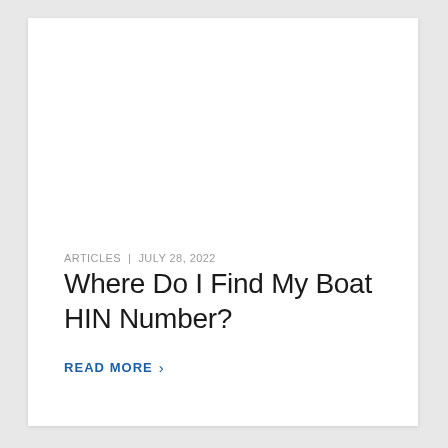ARTICLES | JULY 28, 2022
Where Do I Find My Boat HIN Number?
READ MORE >